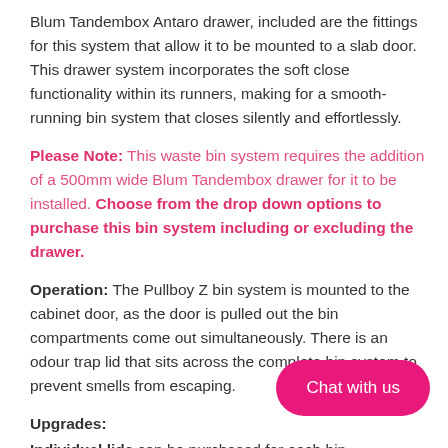Blum Tandembox Antaro drawer, included are the fittings for this system that allow it to be mounted to a slab door. This drawer system incorporates the soft close functionality within its runners, making for a smooth-running bin system that closes silently and effortlessly.
Please Note: This waste bin system requires the addition of a 500mm wide Blum Tandembox drawer for it to be installed. Choose from the drop down options to purchase this bin system including or excluding the drawer.
Operation: The Pullboy Z bin system is mounted to the cabinet door, as the door is pulled out the bin compartments come out simultaneously. There is an odour trap lid that sits across the complete bin system to prevent smells from escaping.
Upgrades:
Individual lids can be purchased for each bin compartment, this
[Figure (other): Pink rounded rectangle button with white text reading 'Chat with us']